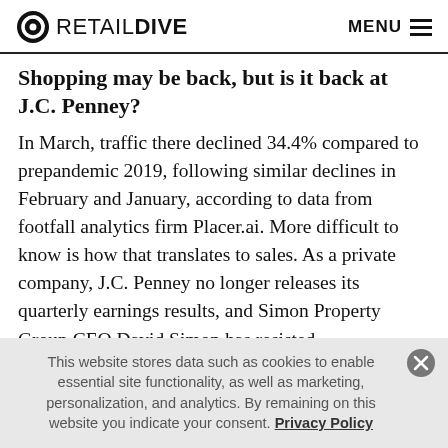RETAIL DIVE  MENU
Shopping may be back, but is it back at J.C. Penney?
In March, traffic there declined 34.4% compared to prepandemic 2019, following similar declines in February and January, according to data from footfall analytics firm Placer.ai. More difficult to know is how that translates to sales. As a private company, J.C. Penney no longer releases its quarterly earnings results, and Simon Property Group CEO David Simon has resisted
This website stores data such as cookies to enable essential site functionality, as well as marketing, personalization, and analytics. By remaining on this website you indicate your consent. Privacy Policy